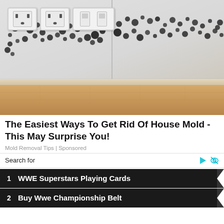[Figure (photo): Photo of a room corner with severe black mold growth covering white walls near electrical outlets, above a wooden baseboard and hardwood floor]
The Easiest Ways To Get Rid Of House Mold - This May Surprise You!
Mold Removal Tips | Sponsored
Search for
1   WWE Superstars Playing Cards
2   Buy Wwe Championship Belt